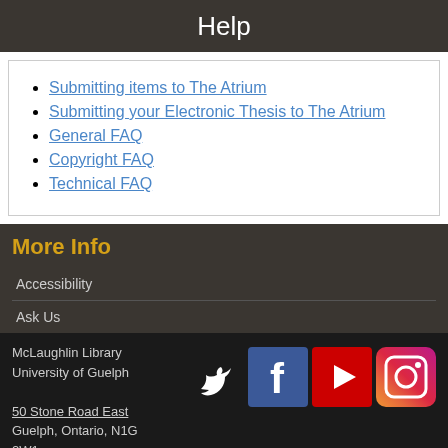Help
Submitting items to The Atrium
Submitting your Electronic Thesis to The Atrium
General FAQ
Copyright FAQ
Technical FAQ
More Info
Accessibility
Ask Us
McLaughlin Library
University of Guelph

50 Stone Road East
Guelph, Ontario, N1G 2W1
Canada

519-824-4120 x 53617
[Figure (logo): Social media icons: Twitter, Facebook, YouTube, Instagram]